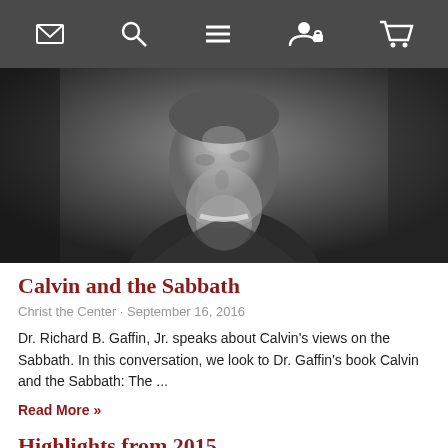[Figure (screenshot): Mobile website navigation bar with icons: envelope/mail, search/magnifier, hamburger menu, user/lock, shopping cart — white icons on dark gray background]
[Figure (photo): Black and white portrait/engraving of a bearded man in historical clothing, looking upward, cropped to show head and upper body]
Calvin and the Sabbath
Christ the Center · September 16, 2016
Dr. Richard B. Gaffin, Jr. speaks about Calvin's views on the Sabbath. In this conversation, we look to Dr. Gaffin's book Calvin and the Sabbath: The ...
Read More »
Highlights from 2015
Christ the Center · January 1, 2016